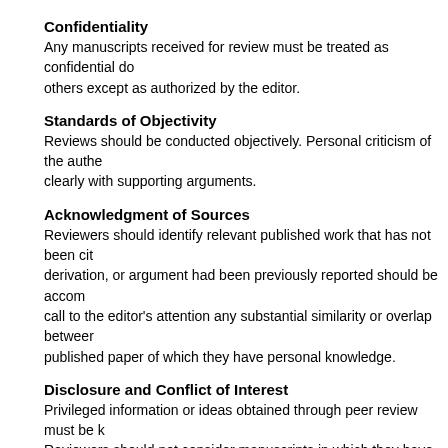Confidentiality
Any manuscripts received for review must be treated as confidential documents. They must not be shown to or discussed with others except as authorized by the editor.
Standards of Objectivity
Reviews should be conducted objectively. Personal criticism of the author is inappropriate. Referees should express their views clearly with supporting arguments.
Acknowledgment of Sources
Reviewers should identify relevant published work that has not been cited by the authors. Any statement that an observation, derivation, or argument had been previously reported should be accompanied by the relevant citation. A reviewer should also call to the editor's attention any substantial similarity or overlap between the manuscript under consideration and any other published paper of which they have personal knowledge.
Disclosure and Conflict of Interest
Privileged information or ideas obtained through peer review must be kept confidential and not used for personal advantage. Reviewers should not consider manuscripts in which they have conflicts of interest resulting from competitive, collaborative, or other relationships or connections with any of the authors, companies, or institutions connected to the papers.
Duties of Authors
Reporting standards
Authors of reports of original research should present an accurate account of the work performed as well as an objective discussion of its significance. Underlying data should be represented accurately in the paper. A paper should contain sufficient detail and references to permit others to replicate the work. Fraudulent or knowingly inaccurate statements constitute unethical behavior and are unacceptable.